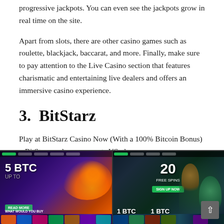progressive jackpots. You can even see the jackpots grow in real time on the site.
Apart from slots, there are other casino games such as roulette, blackjack, baccarat, and more. Finally, make sure to pay attention to the Live Casino section that features charismatic and entertaining live dealers and offers an immersive casino experience.
3.  BitStarz
Play at BitStarz Casino Now (With a 100% Bitcoin Bonus) – BitStarz no longer accepts US players.
BitStarz is an award-winning online casino platform that focuses on Bitcoin as one of the primary deposit and withdrawal options.
[Figure (screenshot): Two side-by-side screenshots of the BitStarz casino website showing promotional offers including 5 BTC bonus on the left screenshot and 20 free spins with 1 BTC bonus on the right screenshot.]